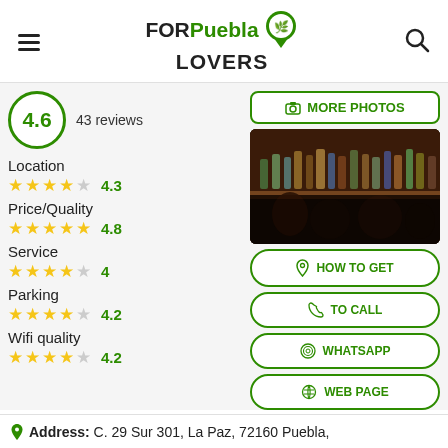FOR Puebla LOVERS
4.6  43 reviews
MORE PHOTOS
[Figure (photo): Interior of a bar with bottles on illuminated shelves and patrons]
Location
★★★★☆ 4.3
Price/Quality
★★★★★ 4.8
HOW TO GET
Service
★★★★☆ 4
TO CALL
Parking
★★★★☆ 4.2
WHATSAPP
Wifi quality
★★★★☆ 4.2
WEB PAGE
Address: C. 29 Sur 301, La Paz, 72160 Puebla,